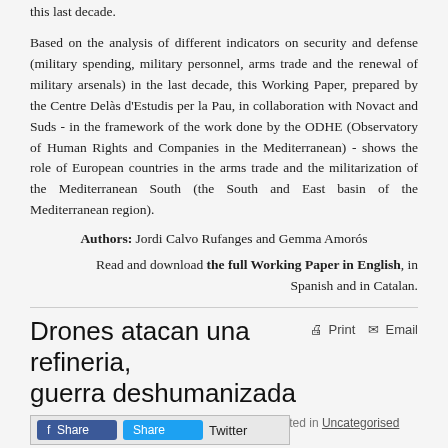this last decade.
Based on the analysis of different indicators on security and defense (military spending, military personnel, arms trade and the renewal of military arsenals) in the last decade, this Working Paper, prepared by the Centre Delàs d'Estudis per la Pau, in collaboration with Novact and Suds - in the framework of the work done by the ODHE (Observatory of Human Rights and Companies in the Mediterranean) - shows the role of European countries in the arms trade and the militarization of the Mediterranean South (the South and East basin of the Mediterranean region).
Authors: Jordi Calvo Rufanges and Gemma Amorós
Read and download the full Working Paper in English, in Spanish and in Catalan.
Drones atacan una refineria, guerra deshumanizada
Written by Tica Font on 23 September 2019. Posted in Uncategorised